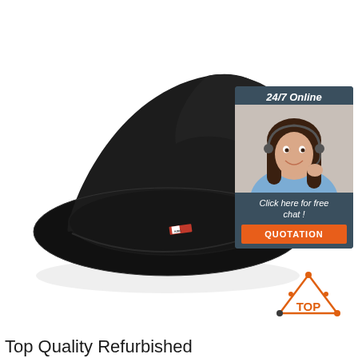[Figure (photo): Black bucket hat photographed from below/inside, tilted at an angle on white background. Small red and white label visible on brim, small white embroidered text on side.]
[Figure (infographic): Customer service chat widget showing '24/7 Online' header in dark teal, photo of smiling female customer service representative wearing headset, 'Click here for free chat!' text, and orange 'QUOTATION' button at bottom.]
[Figure (logo): Orange and dark triangle 'TOP' logo with dots at corners, text 'TOP' below in orange.]
Top Quality Refurbished